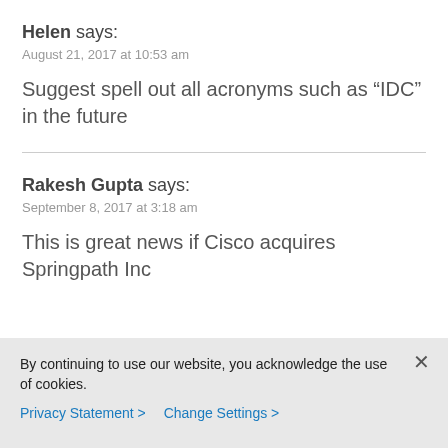Helen says:
August 21, 2017 at 10:53 am
Suggest spell out all acronyms such as “IDC” in the future
Rakesh Gupta says:
September 8, 2017 at 3:18 am
This is great news if Cisco acquires Springpath Inc
By continuing to use our website, you acknowledge the use of cookies.
Privacy Statement > Change Settings >